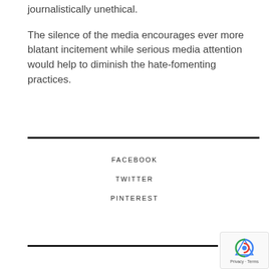journalistically unethical.
The silence of the media encourages ever more blatant incitement while serious media attention would help to diminish the hate-fomenting practices.
FACEBOOK
TWITTER
PINTEREST